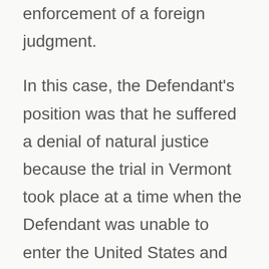enforcement of a foreign judgment.
In this case, the Defendant's position was that he suffered a denial of natural justice because the trial in Vermont took place at a time when the Defendant was unable to enter the United States and participate in the trial